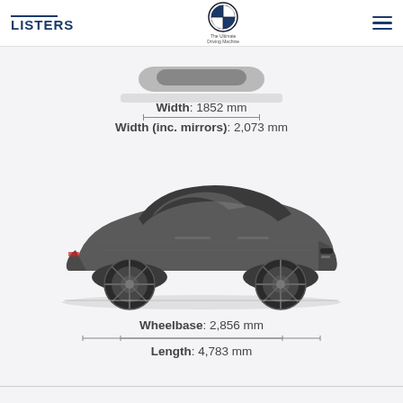LISTERS | BMW — The Ultimate Driving Machine
[Figure (photo): Partial front/top view of a dark grey BMW 4 Series Gran Coupe, cropped at the top]
Width: 1852 mm
Width (inc. mirrors): 2,073 mm
[Figure (photo): Side profile view of a dark grey BMW 4 Series Gran Coupe on a light grey background]
Wheelbase: 2,856 mm
Length: 4,783 mm